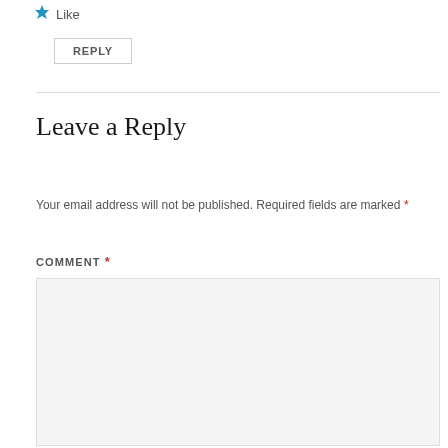[Figure (illustration): Blue star icon with 'Like' text next to it]
REPLY
Leave a Reply
Your email address will not be published. Required fields are marked *
COMMENT *
[Figure (screenshot): Empty comment text area input box with light gray background]